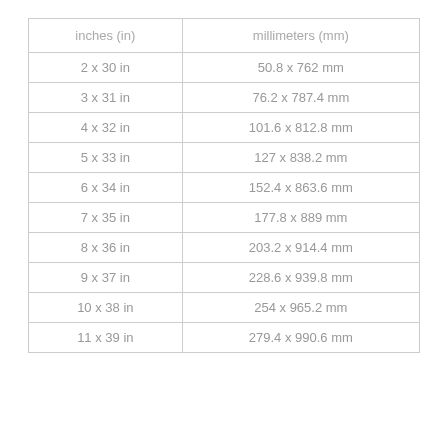| inches (in) | millimeters (mm) |
| --- | --- |
| 2 x 30 in | 50.8 x 762 mm |
| 3 x 31 in | 76.2 x 787.4 mm |
| 4 x 32 in | 101.6 x 812.8 mm |
| 5 x 33 in | 127 x 838.2 mm |
| 6 x 34 in | 152.4 x 863.6 mm |
| 7 x 35 in | 177.8 x 889 mm |
| 8 x 36 in | 203.2 x 914.4 mm |
| 9 x 37 in | 228.6 x 939.8 mm |
| 10 x 38 in | 254 x 965.2 mm |
| 11 x 39 in | 279.4 x 990.6 mm |